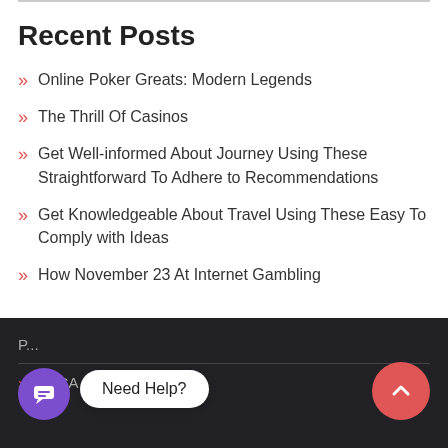Recent Posts
Online Poker Greats: Modern Legends
The Thrill Of Casinos
Get Well-informed About Journey Using These Straightforward To Adhere to Recommendations
Get Knowledgeable About Travel Using These Easy To Comply with Ideas
How November 23 At Internet Gambling
P... DMCA